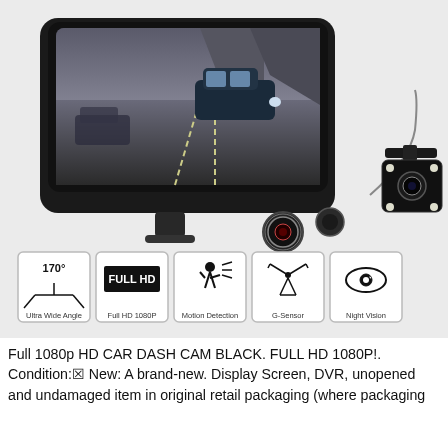[Figure (photo): Product photo of a black car dash cam with dual cameras. The main unit has a large screen showing a road scene with cars, a front-facing camera lens, and a rear view camera module shown to the right. Below the device are five feature icons in rounded square boxes: 170° Ultra Wide Angle, Full HD 1080P, Motion Detection, G-Sensor, and Night Vision.]
Full 1080p HD CAR DASH CAM BLACK. FULL HD 1080P!. Condition:☒ New: A brand-new. Display Screen, DVR, unopened and undamaged item in original retail packaging (where packaging